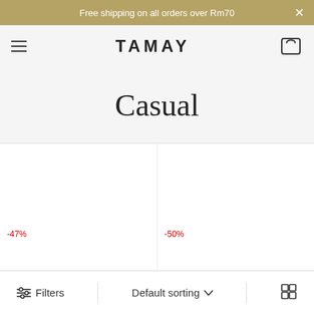Free shipping on all orders over Rm70
TAMAY
Casual
-47%
-50%
Filters  Default sorting  ∨